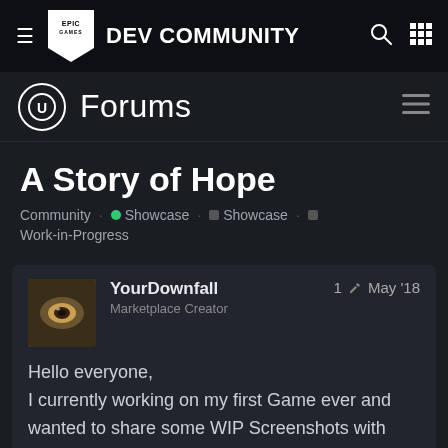EPIC GAMES DEV COMMUNITY
Forums
A Story of Hope
Community • Showcase • Showcase • Work-in-Progress
YourDownfall
Marketplace Creator
1 edit May '18
Hello everyone,
I currently working on my first Game ever and wanted to share some WIP Screenshots with you. And since I'm a single developer i would appreciate ever feedback you can give.

It's mostly a Story driven Exploratio
1 / 32